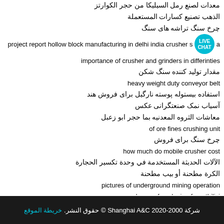معدات لصنع رمل السيليكا من حجر الكوارتز
الذهب تصنيع كسارات المستعملة
چرخ سنگ تراشه های سنگ
project report hollow block manufacturing in delhi india crusher s… [LIVE CHAT] …a
importance of crusher and grinders in differinties
مقدار تولید کننده سنگ شکن
heavy weight duty conveyor belt
استفاده بیستوله پوسته نارگیل برای فروش هند
آسیاب نمک صنعتگرانی عکس
معاشات الثروه المعدنيه بما حجر ابو زعبل
of ore fines crushing unit
چرخ سنگ برای فروش
how much do mobile crusher cost
الآلات الحديثة المستخدمة في وحدة تكسير الحجارة
الكرة مطحنة أو بيب مطحنة
pictures of underground mining operation
buyer of coal mine from tbilisi
تأثير كسارة المنغنيز خصائص الصلب
شركة 2000-2020 Shanghai A&C © حقوق النشر. خريطة الموقع